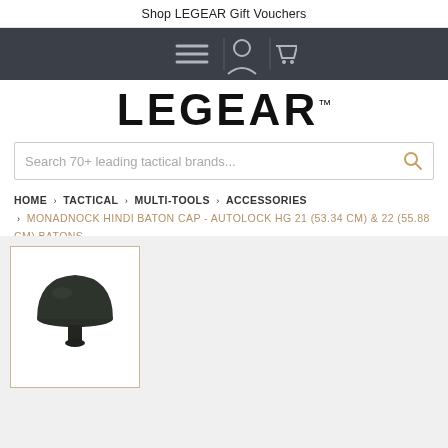Shop LEGEAR Gift Vouchers
[Figure (screenshot): Navigation bar with hamburger menu, user icon, and shopping cart icon on dark background]
LEGEAR™
Search 70+ leading tactical brands...
HOME > TACTICAL > MULTI-TOOLS > ACCESSORIES > MONADNOCK HINDI BATON CAP - AUTOLOCK HG 21 (53.34 CM) & 22 (55.88 CM) BATONS
[Figure (photo): Dark green/black dome-shaped baton cap accessory product photo]